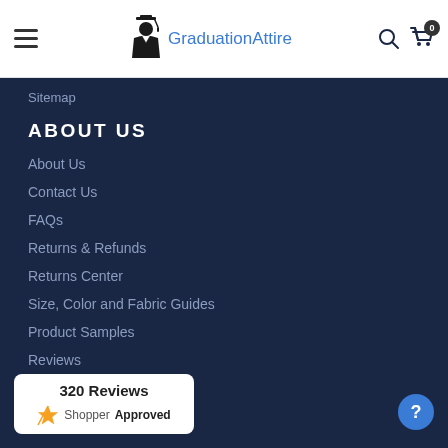GraduationAttire
Sitemap
ABOUT US
About Us
Contact Us
FAQs
Returns & Refunds
Returns Center
Size, Color and Fabric Guides
Product Samples
Reviews
[Figure (logo): Shopper Approved badge showing 320 Reviews]
320 Reviews